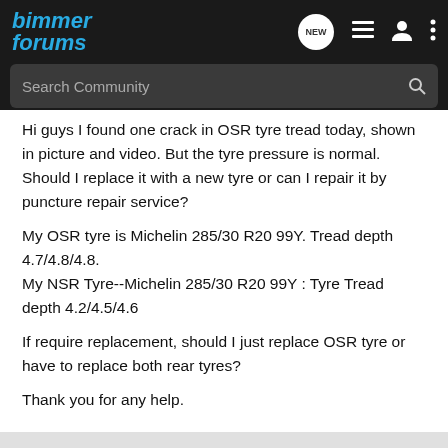Bimmer Forums
Hi guys I found one crack in OSR tyre tread today, shown in picture and video. But the tyre pressure is normal. Should I replace it with a new tyre or can I repair it by puncture repair service?
My OSR tyre is Michelin 285/30 R20 99Y. Tread depth 4.7/4.8/4.8.
My NSR Tyre--Michelin 285/30 R20 99Y : Tyre Tread depth 4.2/4.5/4.6
If require replacement, should I just replace OSR tyre or have to replace both rear tyres?
Thank you for any help.